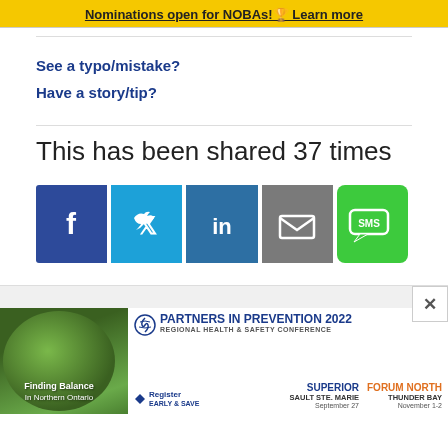Nominations open for NOBAs!🏆 Learn more
See a typo/mistake?
Have a story/tip?
This has been shared 37 times
[Figure (other): Social share buttons: Facebook, Twitter, LinkedIn, Email, SMS]
[Figure (other): Advertisement banner: Partners in Prevention 2022 Regional Health & Safety Conference. Finding Balance in Northern Ontario. Superior Sault Ste. Marie September 27. Forum North Thunder Bay November 1-2.]